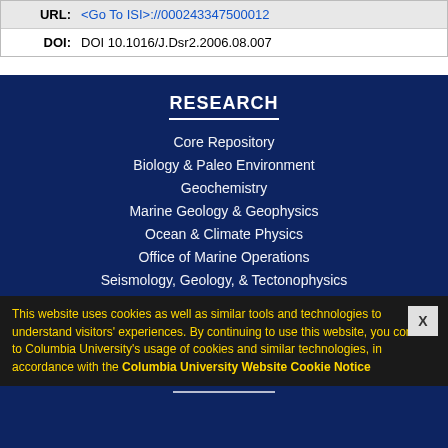| URL: | <Go To ISI>://000243347500012 |
| DOI: | DOI 10.1016/J.Dsr2.2006.08.007 |
RESEARCH
Core Repository
Biology & Paleo Environment
Geochemistry
Marine Geology & Geophysics
Ocean & Climate Physics
Office of Marine Operations
Seismology, Geology, & Tectonophysics
Publications Database
Publications Procedures
Media Inquiries
This website uses cookies as well as similar tools and technologies to understand visitors' experiences. By continuing to use this website, you consent to Columbia University's usage of cookies and similar technologies, in accordance with the Columbia University Website Cookie Notice
EDUCATION